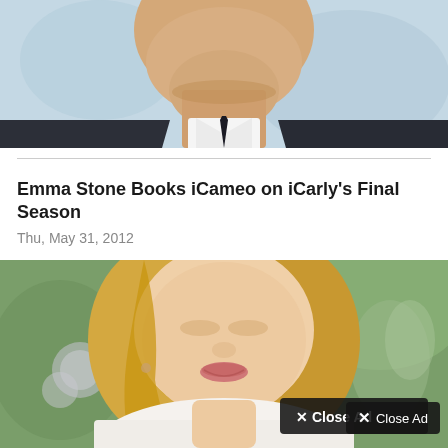[Figure (photo): Cropped photo of a man in a dark suit and white shirt, showing his lower face, neck and upper torso against a light blue background]
Emma Stone Books iCameo on iCarly's Final Season
Thu, May 31, 2012
[Figure (photo): Cropped photo of a blonde woman smiling, wearing a white top, with a 'Close Ad' button overlay in the lower right corner]